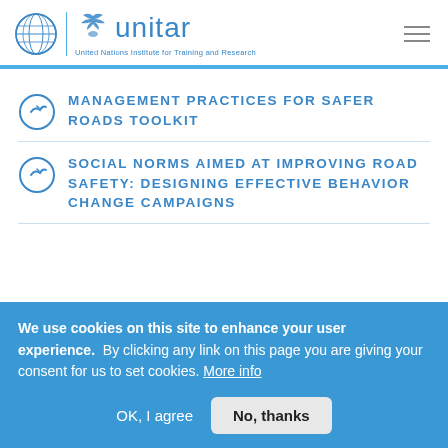[Figure (logo): UNITAR logo: UN emblem, vertical divider, bird/olive branch emblem, 'unitar' text, tagline 'United Nations Institute for Training and Research']
MANAGEMENT PRACTICES FOR SAFER ROADS TOOLKIT
SOCIAL NORMS AIMED AT IMPROVING ROAD SAFETY: DESIGNING EFFECTIVE BEHAVIOR CHANGE CAMPAIGNS
We use cookies on this site to enhance your user experience. By clicking any link on this page you are giving your consent for us to set cookies. More info
OK, I agree    No, thanks